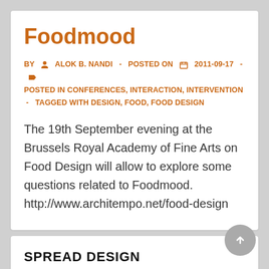Foodmood
BY   ALOK B. NANDI  -  POSTED ON 📅 2011-09-17  -  📂 POSTED IN CONFERENCES, INTERACTION, INTERVENTION  -  TAGGED WITH DESIGN, FOOD, FOOD DESIGN
The 19th September evening at the Brussels Royal Academy of Fine Arts on Food Design will allow to explore some questions related to Foodmood. http://www.architempo.net/food-design
SPREAD DESIGN
[Figure (illustration): Row of three social sharing icons in purple/violet outline style — a pen/edit icon, a share/fork icon, and a wifi/share icon — partially visible at bottom of page]